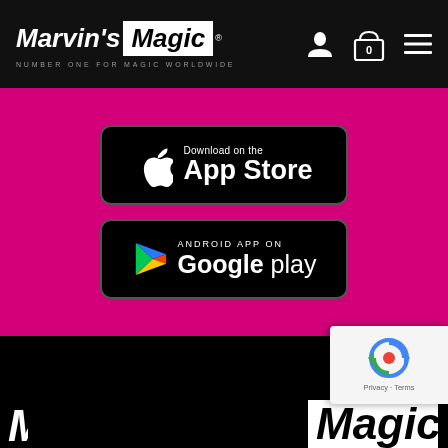Marvin's Magic — NUMBER ONE FOR MAGIC WORLDWIDE
[Figure (screenshot): App Store download button on pink background — Download on the App Store]
[Figure (screenshot): Google Play download button on pink background — ANDROID APP ON Google play]
[Figure (logo): Partial Marvin's Magic logo visible at bottom of page]
[Figure (other): reCAPTCHA badge with Privacy and Terms links]